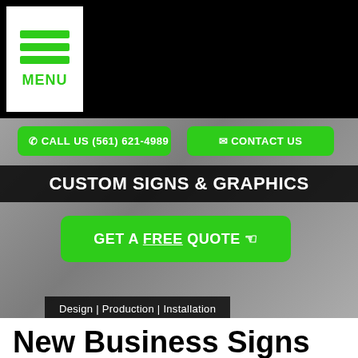[Figure (screenshot): Website navigation header with hamburger menu icon in white box on black background, showing three green horizontal lines and MENU text in green]
[Figure (screenshot): Green call-to-action button: CALL US (561) 621-4989 with phone icon]
[Figure (screenshot): Green call-to-action button: CONTACT US with envelope icon]
CUSTOM SIGNS & GRAPHICS
[Figure (screenshot): Green button: GET A FREE QUOTE with cursor icon, FREE is underlined]
Design | Production | Installation
New Business Signs